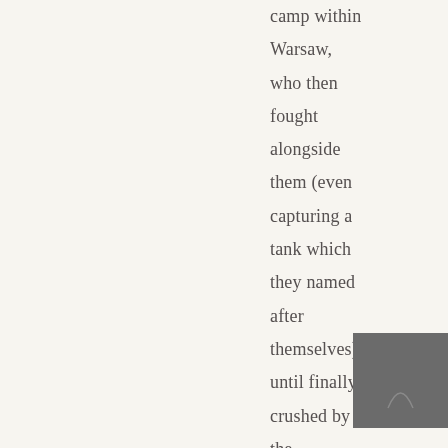camp within Warsaw, who then fought alongside them (even capturing a tank which they named after themselves) until finally crushed by the Germans. Sorry I have rattled on
[Figure (photo): Small dark square thumbnail image with a faint arch or dome shape visible, positioned in the lower right area of the page.]